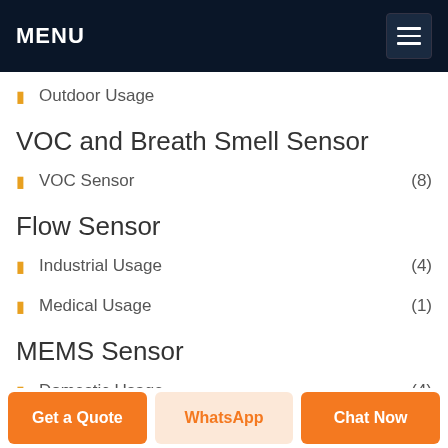MENU
Outdoor Usage
VOC and Breath Smell Sensor
VOC Sensor (8)
Flow Sensor
Industrial Usage (4)
Medical Usage (1)
MEMS Sensor
Domestic Usage (4)
Industrial Usage (2)
Get a Quote | WhatsApp | Chat Now